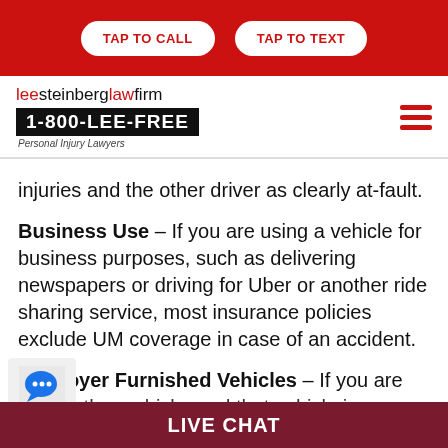TAP TO CALL | TAP TO TEXT
[Figure (logo): Lee Steinberg Law Firm logo with phone number 1-800-LEE-FREE and tagline Personal Injury Lawyers]
injuries and the other driver as clearly at-fault.
Business Use – If you are using a vehicle for business purposes, such as delivering newspapers or driving for Uber or another ride sharing service, most insurance policies exclude UM coverage in case of an accident.
Employer Furnished Vehicles – If you are ing another vehicle, and that vehicle is
LIVE CHAT